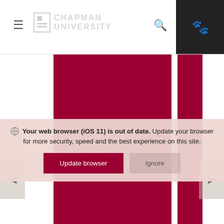Chapman University website header with hamburger menu, logo, search icon, and paw icon
Your web browser (iOS 11) is out of date. Update your browser for more security, speed and the best experience on this site.
Update browser | Ignore
Poetry Reading Series
Tabula Poetica
Join us for live-streaming of all our